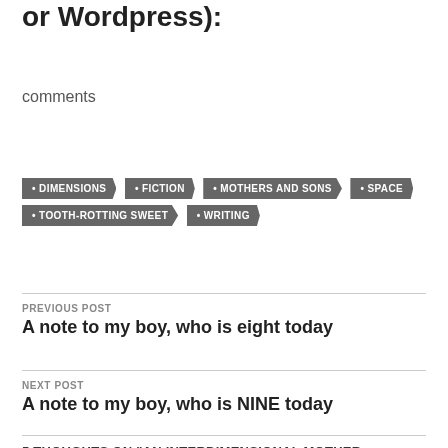or Wordpress):
comments
DIMENSIONS
FICTION
MOTHERS AND SONS
SPACE
TOOTH-ROTTING SWEET
WRITING
PREVIOUS POST
A note to my boy, who is eight today
NEXT POST
A note to my boy, who is NINE today
5 THOUGHTS ON "AN INTERDIMENSIONAL MOTHER-